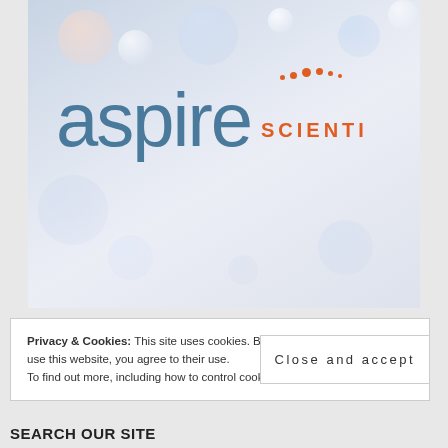[Figure (logo): Aspire Scientific logo on a bokeh light background. The word 'aspire' in large teal/blue rounded letters with 'SCIENTI' in orange uppercase letters to the right. Orange dots arc above the 'i' in aspire.]
Privacy & Cookies: This site uses cookies. By continuing to use this website, you agree to their use.
To find out more, including how to control cookies
Close and accept
SEARCH OUR SITE